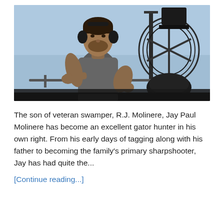[Figure (photo): A muscular man wearing a grey sleeveless shirt and black ear protection headphones, seated on what appears to be an airboat, with a fan/propeller structure visible behind him and a blue sky background.]
The son of veteran swamper, R.J. Molinere, Jay Paul Molinere has become an excellent gator hunter in his own right. From his early days of tagging along with his father to becoming the family's primary sharpshooter, Jay has had quite the...
[Continue reading...]